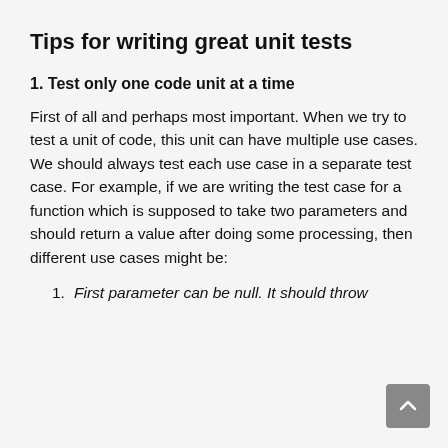Tips for writing great unit tests
1. Test only one code unit at a time
First of all and perhaps most important. When we try to test a unit of code, this unit can have multiple use cases. We should always test each use case in a separate test case. For example, if we are writing the test case for a function which is supposed to take two parameters and should return a value after doing some processing, then different use cases might be:
1. First parameter can be null. It should throw